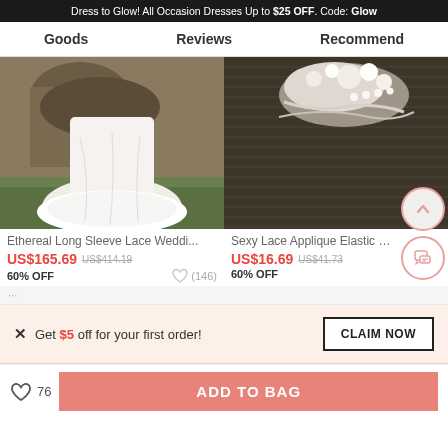Dress to Glow! All Occasion Dresses Up to $25 OFF. Code: Glow
Goods | Reviews | Recommend
[Figure (photo): Wedding dress photo - white flowing gown on grass]
[Figure (photo): Lace hair accessory on dark striped background]
Ethereal Long Sleeve Lace Weddi...
Sexy Lace Applique Elastic Br...
US$165.69  US$414.19
60% OFF
(146)
US$16.69  US$41.73
60% OFF
Get $5 off for your first order!
76
ADD TO BAG